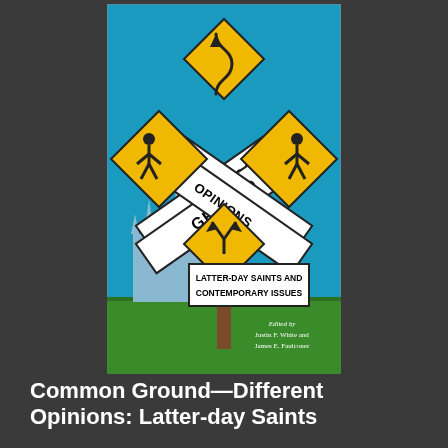[Figure (illustration): Book cover illustration showing crossed road signs reading 'Common Ground Different Opinions' with yellow pedestrian crossing diamond signs, a winding road sign, a fork-in-road sign, a Mormon temple silhouette in blue, green grass, and a rectangular sign reading 'Latter-Day Saints and Contemporary Issues'. Text at bottom right reads 'Edited by Justin F. White and James E. Faulconer'.]
Common Ground—Different Opinions: Latter-day Saints